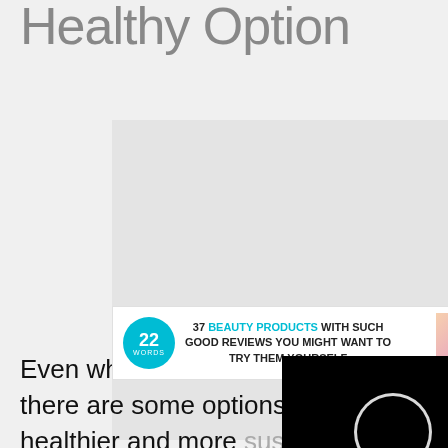Healthy Option
[Figure (screenshot): Advertisement banner: 22 Words logo with text '37 BEAUTY PRODUCTS WITH SUCH GOOD REVIEWS YOU MIGHT WANT TO TRY THEM YOURSELF', with a video loading overlay (black rectangle with spinning circle) on the right side]
Even when it comes to flooring, there are some options that are healthier and more sustainable than others.